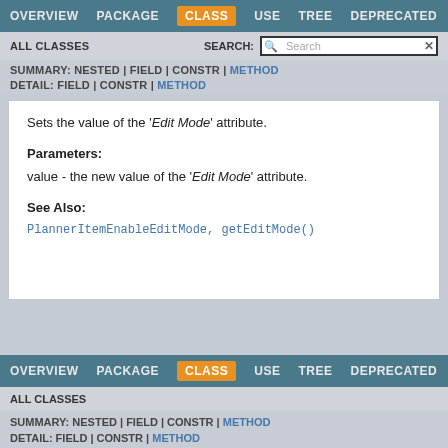OVERVIEW  PACKAGE  CLASS  USE  TREE  DEPRECATED
ALL CLASSES   SEARCH:
SUMMARY: NESTED | FIELD | CONSTR | METHOD
DETAIL: FIELD | CONSTR | METHOD
Sets the value of the 'Edit Mode' attribute.
Parameters:
value - the new value of the 'Edit Mode' attribute.
See Also:
PlannerItemEnableEditMode, getEditMode()
OVERVIEW  PACKAGE  CLASS  USE  TREE  DEPRECATED
ALL CLASSES
SUMMARY: NESTED | FIELD | CONSTR | METHOD
DETAIL: FIELD | CONSTR | METHOD